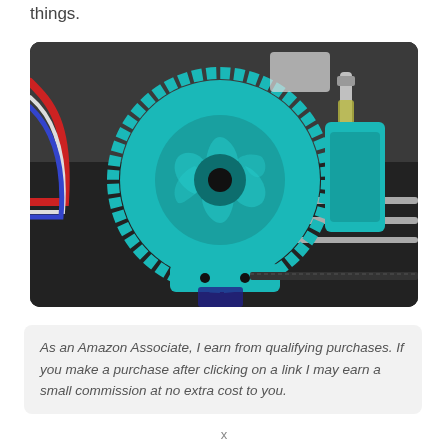things.
[Figure (photo): Close-up photo of a 3D printer extruder assembly with a large teal/cyan colored gear wheel, wiring (red, blue, white), metal rods, and a leadscrew with spring coupling, mounted on a 3D printer frame.]
As an Amazon Associate, I earn from qualifying purchases. If you make a purchase after clicking on a link I may earn a small commission at no extra cost to you.
x